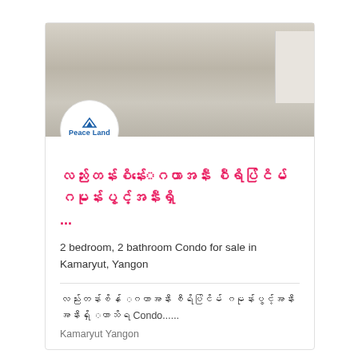[Figure (photo): Interior photo of a room with light-colored tiled floor, white walls, and what appears to be a washing machine or appliance on the right side. Peace Land real estate logo overlaid at bottom left of photo.]
လည်းတန်းစိန်းေဂဟာအနီး စီရိပ်ငြိမ်ဂမုန်းပွင့်အနီးရှိ ...
2 bedroom, 2 bathroom Condo for sale in Kamaryut, Yangon
လည်းတန်းစိန် ေဂဟာအနီး စီရိပ်ငြိမ် ဂမုန်းပွင့်အနီးအနီးရှိ ေဟာသိရ Condo......
Kamaryut Yangon